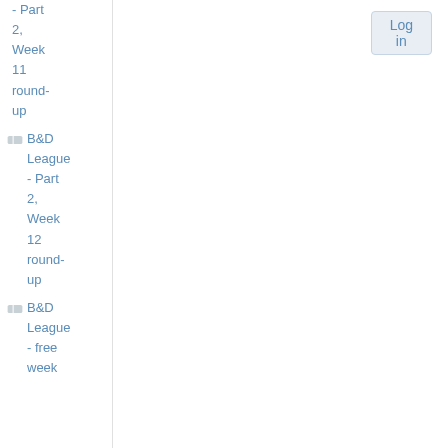- Part 2, Week 11 round-up
B&D League - Part 2, Week 12 round-up
B&D League - free week